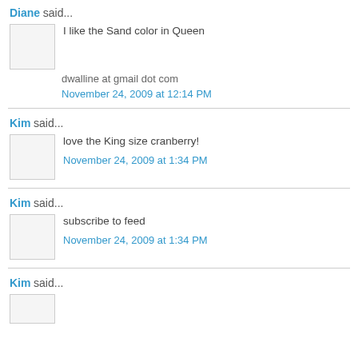Diane said...
I like the Sand color in Queen
dwalline at gmail dot com
November 24, 2009 at 12:14 PM
Kim said...
love the King size cranberry!
November 24, 2009 at 1:34 PM
Kim said...
subscribe to feed
November 24, 2009 at 1:34 PM
Kim said...